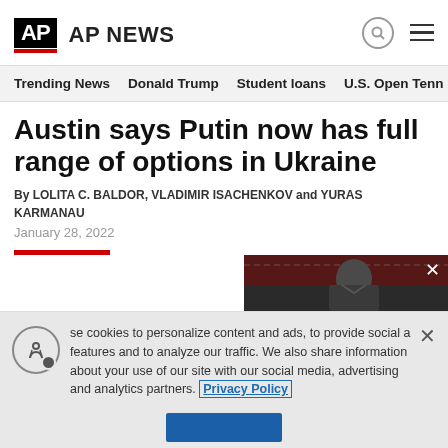AP NEWS
Trending News   Donald Trump   Student loans   U.S. Open Tenn
Austin says Putin now has full range of options in Ukraine
By LOLITA C. BALDOR, VLADIMIR ISACHENKOV and YURAS KARMANAU
January 28, 2022
[Figure (photo): News photo of a man in dark suit, partially visible, dark background with red lighting accents]
se cookies to personalize content and ads, to provide social a features and to analyze our traffic. We also share information about your use of our site with our social media, advertising and analytics partners. Privacy Policy